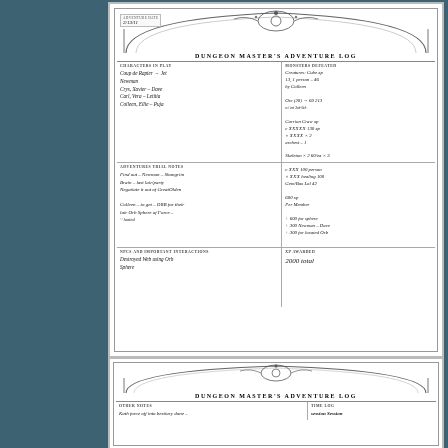[Figure (other): Dungeon Master's Adventure Log form (top), filled in with handwritten notes. Contains ornate border with decorative top piece. Sections include: Characters in Play (Coup de Rapier - Jet, Newman; Crys, Xavier - Dave; Carl, Vera - Letitia; Colleen, Ellie - Puja), Monsters Defeated (various creatures with XP values), Adventures/Trial Notes, NPCs and Important Interactions (Destroyed Web using Orb Sphere), XP Awarded (2000 total). Date stamp shows 2/13/11.]
[Figure (other): Dungeon Master's Adventure Log form (bottom, partial view). Shows top portion of a second log sheet with ornate border and title. Sections partially visible include Other Notes and Time Log.]